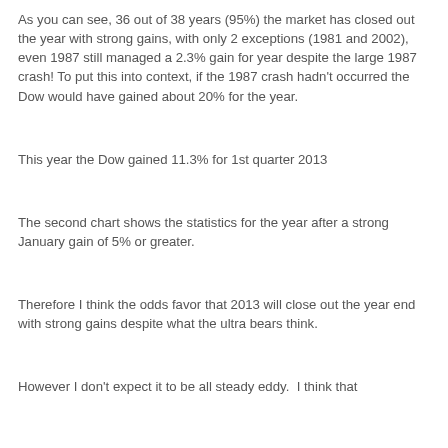As you can see, 36 out of 38 years (95%) the market has closed out the year with strong gains, with only 2 exceptions (1981 and 2002), even 1987 still managed a 2.3% gain for year despite the large 1987 crash! To put this into context, if the 1987 crash hadn't occurred the Dow would have gained about 20% for the year.
This year the Dow gained 11.3% for 1st quarter 2013
The second chart shows the statistics for the year after a strong January gain of 5% or greater.
Therefore I think the odds favor that 2013 will close out the year end with strong gains despite what the ultra bears think.
However I don't expect it to be all steady eddy.  I think that